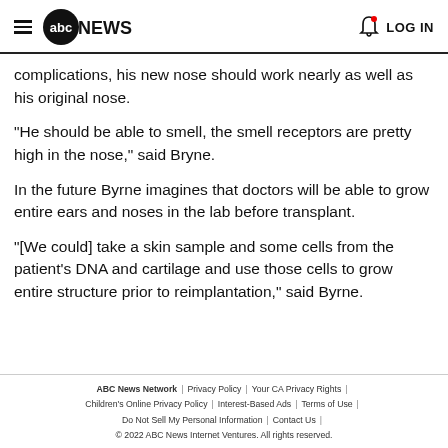abc NEWS  LOG IN
complications, his new nose should work nearly as well as his original nose.
"He should be able to smell, the smell receptors are pretty high in the nose," said Bryne.
In the future Byrne imagines that doctors will be able to grow entire ears and noses in the lab before transplant.
"[We could] take a skin sample and some cells from the patient's DNA and cartilage and use those cells to grow entire structure prior to reimplantation," said Byrne.
ABC News Network | Privacy Policy | Your CA Privacy Rights | Children's Online Privacy Policy | Interest-Based Ads | Terms of Use | Do Not Sell My Personal Information | Contact Us | © 2022 ABC News Internet Ventures. All rights reserved.